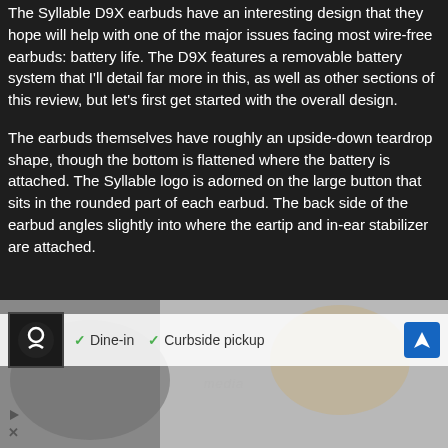The Syllable D9X earbuds have an interesting design that they hope will help with one of the major issues facing most wire-free earbuds: battery life. The D9X features a removable battery system that I'll detail far more in this, as well as other sections of this review, but let's first get started with the overall design.
The earbuds themselves have roughly an upside-down teardrop shape, though the bottom is flattened where the battery is attached. The Syllable logo is adorned on the large button that sits in the rounded part of each earbud. The back side of the earbud angles slightly into where the eartip and in-ear stabilizer are attached.
[Figure (other): Advertisement banner showing a restaurant with Dine-in and Curbside pickup options, with a logo and navigation arrow icon. Partial media watermark visible in background.]